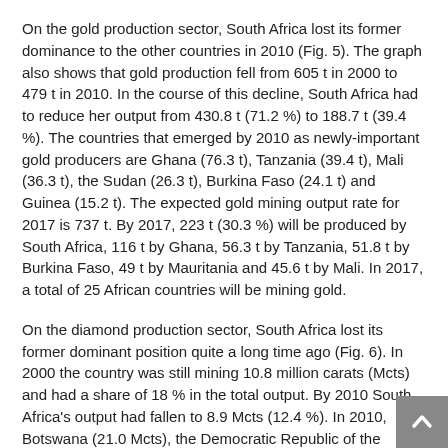On the gold production sector, South Africa lost its former dominance to the other countries in 2010 (Fig. 5). The graph also shows that gold production fell from 605 t in 2000 to 479 t in 2010. In the course of this decline, South Africa had to reduce her output from 430.8 t (71.2 %) to 188.7 t (39.4 %). The countries that emerged by 2010 as newly-important gold producers are Ghana (76.3 t), Tanzania (39.4 t), Mali (36.3 t), the Sudan (26.3 t), Burkina Faso (24.1 t) and Guinea (15.2 t). The expected gold mining output rate for 2017 is 737 t. By 2017, 223 t (30.3 %) will be produced by South Africa, 116 t by Ghana, 56.3 t by Tanzania, 51.8 t by Burkina Faso, 49 t by Mauritania and 45.6 t by Mali. In 2017, a total of 25 African countries will be mining gold.
On the diamond production sector, South Africa lost its former dominant position quite a long time ago (Fig. 6). In 2000 the country was still mining 10.8 million carats (Mcts) and had a share of 18 % in the total output. By 2010 South Africa's output had fallen to 8.9 Mcts (12.4 %). In 2010, Botswana (21.0 Mcts), the Democratic Republic of the Congo (16.8 Mcts), Angola (13 Mcts) and Zimbabwe (8.4 Mcts) had already taken leading places. By 2017, Zimbabwe is expected to produce 10 Mcts, thus overtaking South Africa